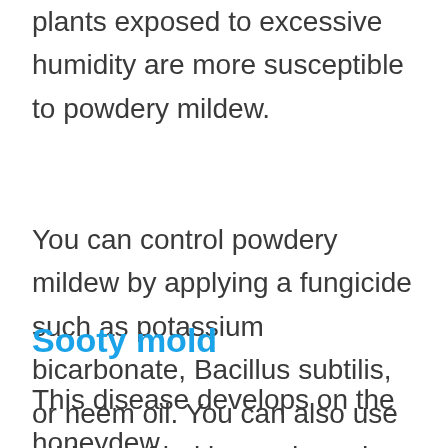plants exposed to excessive humidity are more susceptible to powdery mildew.
You can control powdery mildew by applying a fungicide such as potassium bicarbonate, Bacillus subtilis, or neem oil. You can also use a blend of baking soda and vinegar.
Sooty mold
This disease develops on the honeydew formed on the leaves whenever